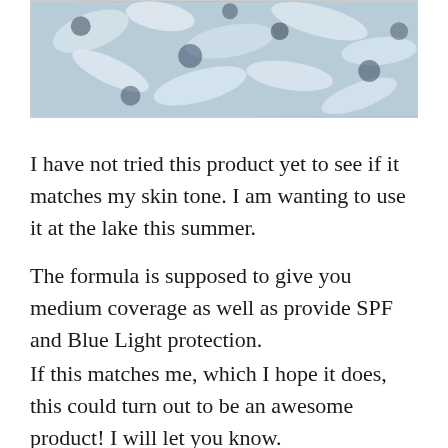[Figure (photo): Photo of shredded white paper or tissue paper with blue floral pattern, viewed from above]
I have not tried this product yet to see if it matches my skin tone. I am wanting to use it at the lake this summer.
The formula is supposed to give you medium coverage as well as provide SPF and Blue Light protection.
If this matches me, which I hope it does, this could turn out to be an awesome product! I will let you know.